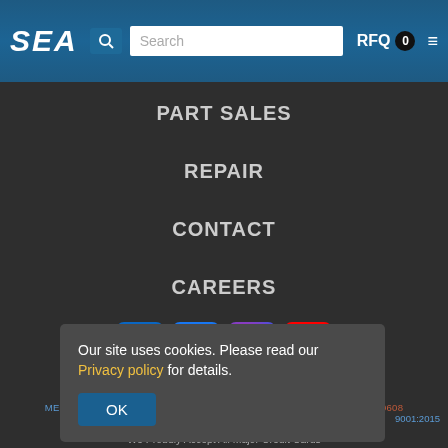SEA | Search | RFQ 0
PART SALES
REPAIR
CONTACT
CAREERS
[Figure (logo): Social media icons: LinkedIn, Facebook, Instagram, YouTube]
1399 GENERAL AVIATION DRIVE • MELBOURNE INTL. AIRPORT • MELBOURNE, FLORIDA 32935 USA • TEL: 321-255-9877 • FAX: 321-255-9608
9001:2015
Our site uses cookies. Please read our Privacy policy for details. OK
We Proudly Accept All Major Credit Cards